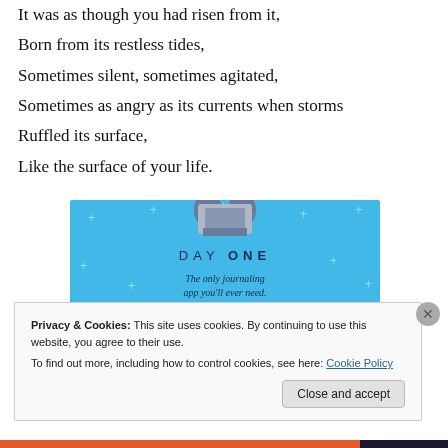It was as though you had risen from it,
Born from its restless tides,
Sometimes silent, sometimes agitated,
Sometimes as angry as its currents when storms
Ruffled its surface,
Like the surface of your life.
[Figure (illustration): Day One journaling app advertisement banner with light blue background, small plus signs scattered, illustration of hands holding a box at top, text 'DAY ONE' and 'The only journaling app you'll ever need.']
Privacy & Cookies: This site uses cookies. By continuing to use this website, you agree to their use.
To find out more, including how to control cookies, see here: Cookie Policy
Close and accept